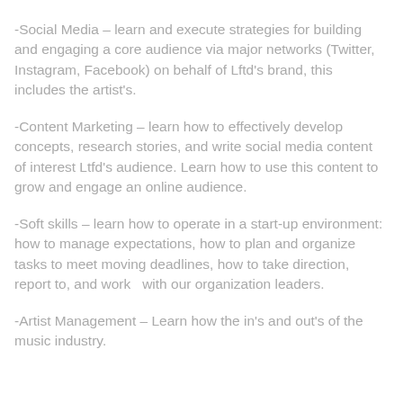-Social Media – learn and execute strategies for building and engaging a core audience via major networks (Twitter, Instagram, Facebook) on behalf of Lftd's brand, this includes the artist's.
-Content Marketing – learn how to effectively develop concepts, research stories, and write social media content of interest Ltfd's audience. Learn how to use this content to grow and engage an online audience.
-Soft skills – learn how to operate in a start-up environment: how to manage expectations, how to plan and organize tasks to meet moving deadlines, how to take direction, report to, and work  with our organization leaders.
-Artist Management – Learn how the in's and out's of the music industry.